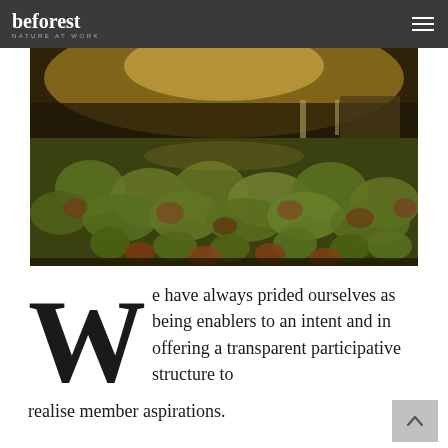beforeest — NATURE AT WORK
[Figure (photo): Large field covered with green and brown fruits/nuts (acorns or similar), viewed from ground level with trees and a structure visible in the distant background under dramatic golden light.]
We have always prided ourselves as being enablers to an intent and in offering a transparent participative structure to realise member aspirations.